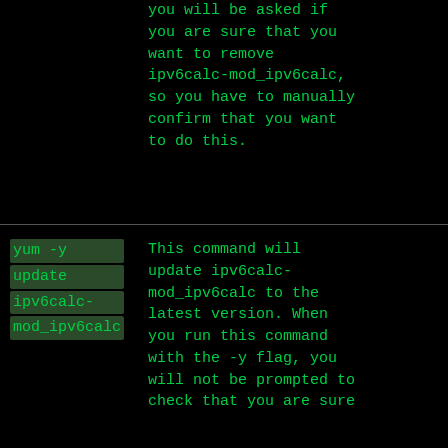you will be asked if you are sure that you want to remove ipv6calc-mod_ipv6calc, so you have to manually confirm that you want to do this.
yum -y update ipv6calc-mod_ipv6calc
This command will update ipv6calc-mod_ipv6calc to the latest version. When you run this command with the -y flag, you will not be prompted to check that you are sure